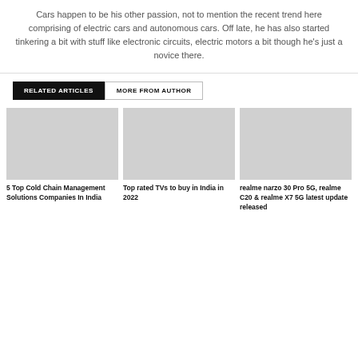Cars happen to be his other passion, not to mention the recent trend here comprising of electric cars and autonomous cars. Off late, he has also started tinkering a bit with stuff like electronic circuits, electric motors a bit though he's just a novice there.
RELATED ARTICLES
MORE FROM AUTHOR
5 Top Cold Chain Management Solutions Companies In India
Top rated TVs to buy in India in 2022
realme narzo 30 Pro 5G, realme C20 & realme X7 5G latest update released